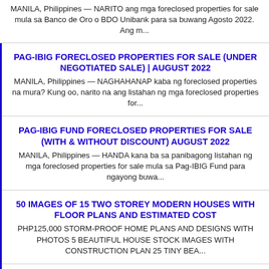MANILA, Philippines — NARITO ang mga foreclosed properties for sale mula sa Banco de Oro o BDO Unibank para sa buwang Agosto 2022. Ang m...
PAG-IBIG FORECLOSED PROPERTIES FOR SALE (UNDER NEGOTIATED SALE) | AUGUST 2022
MANILA, Philippines — NAGHAHANAP kaba ng foreclosed properties na mura? Kung oo, narito na ang listahan ng mga foreclosed properties for...
PAG-IBIG FUND FORECLOSED PROPERTIES FOR SALE (WITH & WITHOUT DISCOUNT) AUGUST 2022
MANILA, Philippines — HANDA kana ba sa panibagong listahan ng mga foreclosed properties for sale mula sa Pag-IBIG Fund para ngayong buwa...
50 IMAGES OF 15 TWO STOREY MODERN HOUSES WITH FLOOR PLANS AND ESTIMATED COST
PHP125,000 STORM-PROOF HOME PLANS AND DESIGNS WITH PHOTOS 5 BEAUTIFUL HOUSE STOCK IMAGES WITH CONSTRUCTION PLAN 25 TINY BEA...
50 DESIGNS OF LOW-COST HOUSES PERFECT FOR FILIPINO FAMILIES